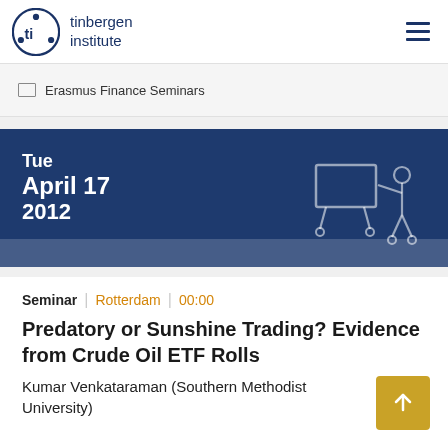tinbergen institute
Erasmus Finance Seminars
[Figure (illustration): Dark blue banner with date Tue April 17 2012 and a presenter illustration (person pointing at a board)]
Seminar | Rotterdam | 00:00
Predatory or Sunshine Trading? Evidence from Crude Oil ETF Rolls
Kumar Venkataraman (Southern Methodist University)